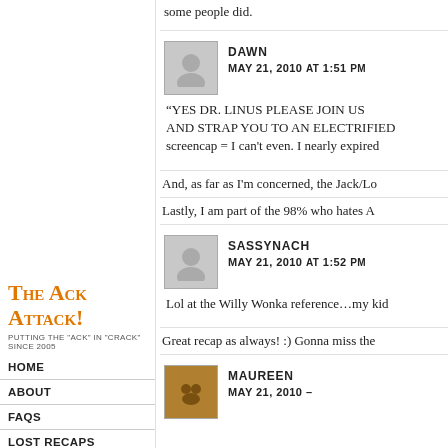some people did.
Dawn
May 21, 2010 at 1:51 pm
“YES DR. LINUS PLEASE JOIN US AND STRAP YOU TO AN ELECTRIFIED screencap = I can't even. I nearly expired
And, as far as I'm concerned, the Jack/Lo
Lastly, I am part of the 98% who hates A
Sassynach
May 21, 2010 at 1:52 pm
Lol at the Willy Wonka reference…my kid
Great recap as always! :) Gonna miss the
Maureen
May 21, 2010 at
The Ack Attack!
putting the "ack" in "crack" since 2005
HOME
ABOUT
FAQS
LOST RECAPS
FEED